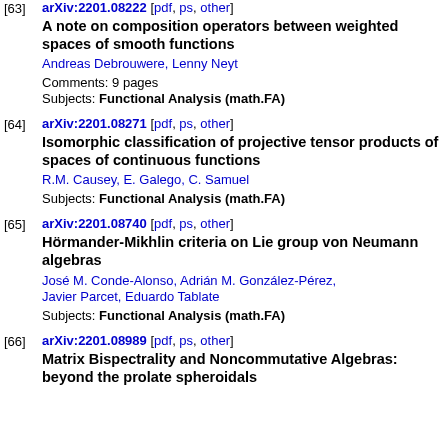[63] arXiv:2201.08222 [pdf, ps, other]
A note on composition operators between weighted spaces of smooth functions
Andreas Debrouwer, Lenny Neyt
Comments: 9 pages
Subjects: Functional Analysis (math.FA)
[64] arXiv:2201.08271 [pdf, ps, other]
Isomorphic classification of projective tensor products of spaces of continuous functions
R.M. Causey, E. Galego, C. Samuel
Subjects: Functional Analysis (math.FA)
[65] arXiv:2201.08740 [pdf, ps, other]
Hörmander-Mikhlin criteria on Lie group von Neumann algebras
José M. Conde-Alonso, Adrián M. González-Pérez, Javier Parcet, Eduardo Tablate
Subjects: Functional Analysis (math.FA)
[66] arXiv:2201.08989 [pdf, ps, other]
Matrix Bispectrality and Noncommutative Algebras: beyond the prolate spheroidals